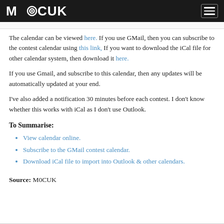M0CUK
The calendar can be viewed here. If you use GMail, then you can subscribe to the contest calendar using this link, If you want to download the iCal file for other calendar system, then download it here.
If you use Gmail, and subscribe to this calendar, then any updates will be automatically updated at your end.
I've also added a notification 30 minutes before each contest. I don't know whether this works with iCal as I don't use Outlook.
To Summarise:
View calendar online.
Subscribe to the GMail contest calendar.
Download iCal file to import into Outlook & other calendars.
Source: M0CUK